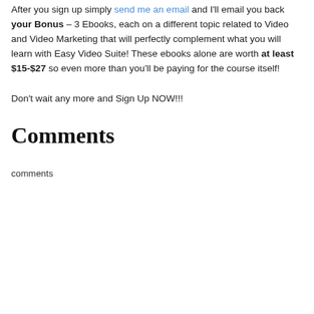After you sign up simply send me an email and I'll email you back your Bonus – 3 Ebooks, each on a different topic related to Video and Video Marketing that will perfectly complement what you will learn with Easy Video Suite! These ebooks alone are worth at least $15-$27 so even more than you'll be paying for the course itself!
Don't wait any more and Sign Up NOW!!!
Comments
comments